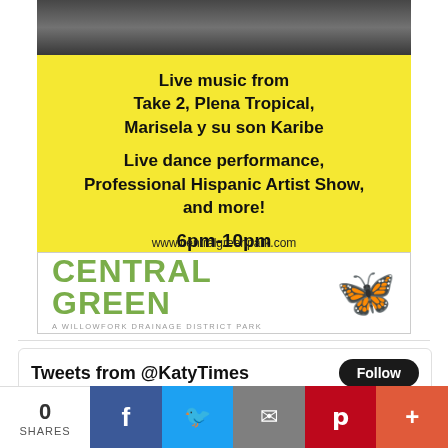[Figure (photo): Concert/performance photo visible at very top of page — partially cropped]
Live music from Take 2, Plena Tropical, Marisela y su son Karibe

Live dance performance, Professional Hispanic Artist Show, and more!

6pm-10pm
www.centralgreenpark.com
[Figure (logo): Central Green logo — green text with butterfly image, subtitle: A Willowfork Drainage District Park]
Tweets from @KatyTimes
The Katy Times @KatyTimes · 5h
0
SHARES